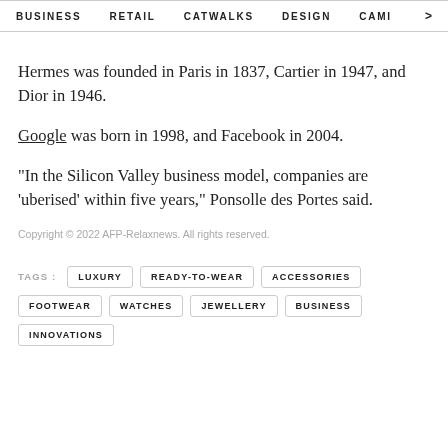BUSINESS   RETAIL   CATWALKS   DESIGN   CAMI  >
Hermes was founded in Paris in 1837, Cartier in 1947, and Dior in 1946.
Google was born in 1998, and Facebook in 2004.
"In the Silicon Valley business model, companies are 'uberised' within five years," Ponsolle des Portes said.
Copyright © 2022 AFP-Relaxnews. All rights reserved.
TAGS :  LUXURY  READY-TO-WEAR  ACCESSORIES  FOOTWEAR  WATCHES  JEWELLERY  BUSINESS  INNOVATIONS